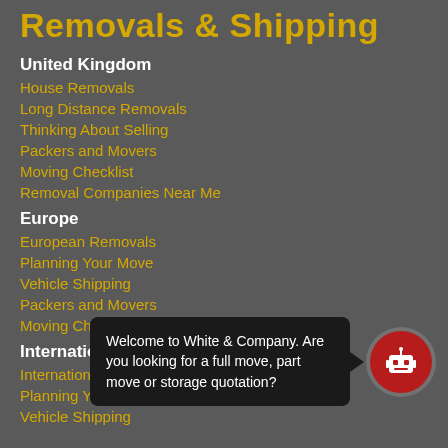Removals & Shipping
United Kingdom
House Removals
Long Distance Removals
Thinking About Selling
Packers and Movers
Moving Checklist
Removal Companies Near Me
Europe
European Removals
Planning Your Move
Vehicle Shipping
Packers and Movers
Moving Checklist
International
International Removals
Planning Your Move
Vehicle Shipping
Welcome to White & Company. Are you looking for a full move, part move or storage quotation?